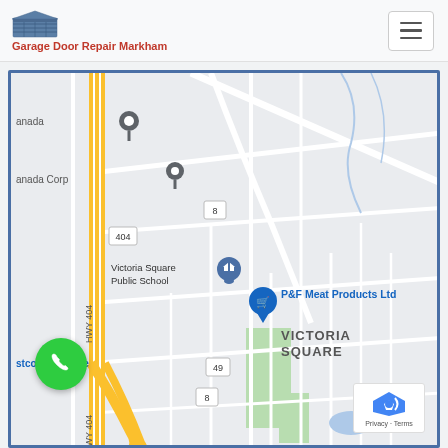[Figure (logo): Garage door repair company logo with building icon]
Garage Door Repair Markham
[Figure (map): Google Maps screenshot showing Victoria Square area in Markham, Ontario, Canada. Shows HWY 404, Victoria Square Public School, P&F Meat Products Ltd, Costco Wholesale, route 49 and 8 markers, and Cathedral Town label at bottom.]